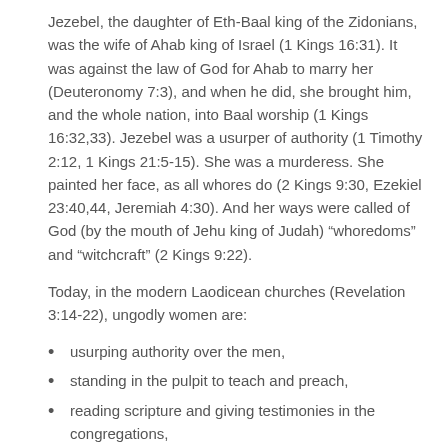Jezebel, the daughter of Eth-Baal king of the Zidonians, was the wife of Ahab king of Israel (1 Kings 16:31). It was against the law of God for Ahab to marry her (Deuteronomy 7:3), and when he did, she brought him, and the whole nation, into Baal worship (1 Kings 16:32,33). Jezebel was a usurper of authority (1 Timothy 2:12, 1 Kings 21:5-15). She was a murderess. She painted her face, as all whores do (2 Kings 9:30, Ezekiel 23:40,44, Jeremiah 4:30). And her ways were called of God (by the mouth of Jehu king of Judah) “whoredoms” and “witchcraft” (2 Kings 9:22).
Today, in the modern Laodicean churches (Revelation 3:14-22), ungodly women are:
usurping authority over the men,
standing in the pulpit to teach and preach,
reading scripture and giving testimonies in the congregations,